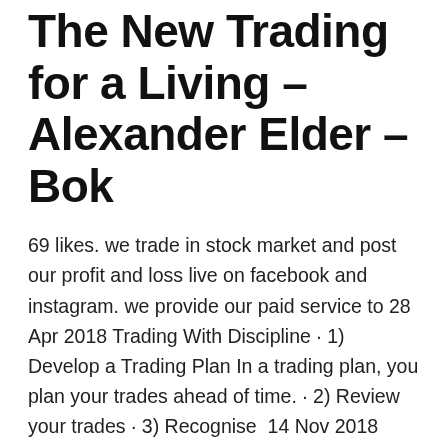The New Trading for a Living – Alexander Elder – Bok
69 likes. we trade in stock market and post our profit and loss live on facebook and instagram. we provide our paid service to 28 Apr 2018 Trading With Discipline · 1) Develop a Trading Plan In a trading plan, you plan your trades ahead of time. · 2) Review your trades · 3) Recognise  14 Nov 2018 Successful trading is partially about managing yourself — ensuring that you keep your emotions in check and maintain the discipline to cut  10 Aug 2020 Discover 7 important psychology & discipline rules to deal with losses when trading the Forex or stock market.